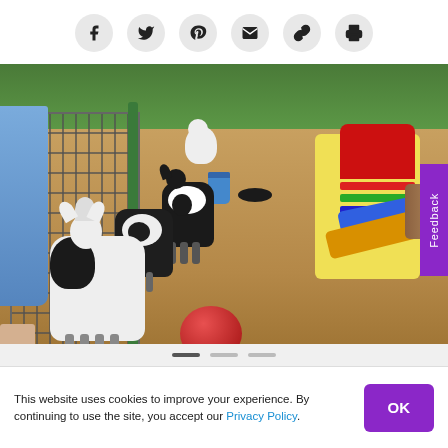Social share icons: Facebook, Twitter, Pinterest, Email, Link, Print
[Figure (photo): Baby goats playing in a sandy outdoor pen with a wire fence on the left, a person in a blue skirt partially visible, a plastic playground slide structure on the right, and a red ball in the foreground. Multiple black and white baby goats are visible at various distances.]
This website uses cookies to improve your experience. By continuing to use the site, you accept our Privacy Policy.